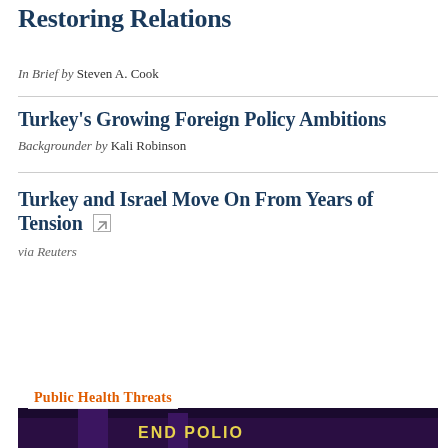Restoring Relations
In Brief by Steven A. Cook
Turkey's Growing Foreign Policy Ambitions
Backgrounder by Kali Robinson
Turkey and Israel Move On From Years of Tension
via Reuters
Public Health Threats
[Figure (photo): Nighttime photo of the Tower of London illuminated in purple with 'END POLIO NOW' projected in yellow and teal letters on the castle walls]